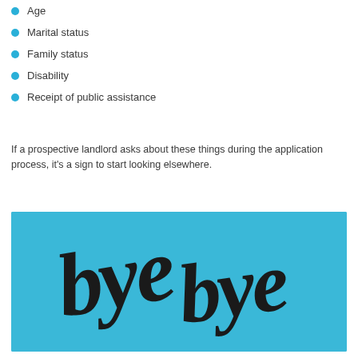Age
Marital status
Family status
Disability
Receipt of public assistance
If a prospective landlord asks about these things during the application process, it's a sign to start looking elsewhere.
[Figure (illustration): Blue background with large hand-lettered black script text reading 'bye bye' in a decorative brush lettering style, repeated twice side by side.]